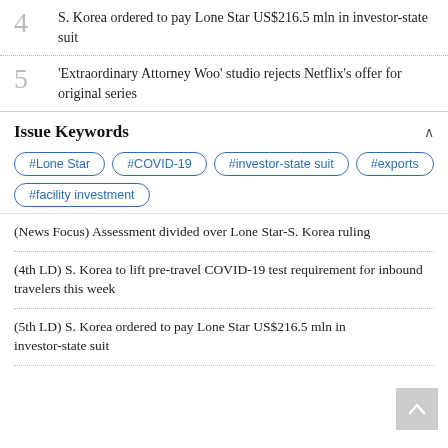4 S. Korea ordered to pay Lone Star US$216.5 mln in investor-state suit
5 'Extraordinary Attorney Woo' studio rejects Netflix's offer for original series
Issue Keywords
#Lone Star #COVID-19 #investor-state suit #exports #facility investment
(News Focus) Assessment divided over Lone Star-S. Korea ruling
(4th LD) S. Korea to lift pre-travel COVID-19 test requirement for inbound travelers this week
(5th LD) S. Korea ordered to pay Lone Star US$216.5 mln in investor-state suit